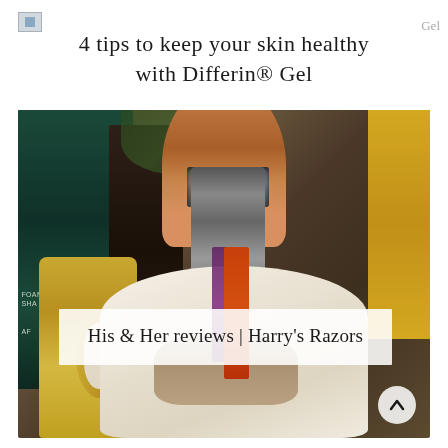4 tips to keep your skin healthy with Differin® Gel
[Figure (photo): Close-up photo of shaving accessories including a Harry's razor, a shaving brush with reddish-brown bristles, a teal foam shaving bottle, a white ceramic mug with gold handle containing razors, and other grooming products on a wooden surface]
His & Her reviews | Harry's Razors